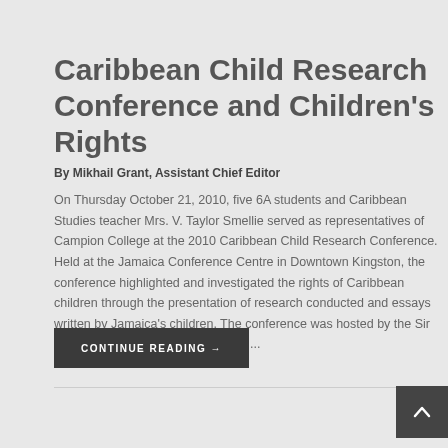Caribbean Child Research Conference and Children’s Rights
By Mikhail Grant, Assistant Chief Editor
On Thursday October 21, 2010, five 6A students and Caribbean Studies teacher Mrs. V. Taylor Smellie served as representatives of Campion College at the 2010 Caribbean Child Research Conference. Held at the Jamaica Conference Centre in Downtown Kingston, the conference highlighted and investigated the rights of Caribbean children through the presentation of research conducted and essays written by Jamaica’s children. The conference was hosted by the Sir Arthur Lewis Institute of Social and ...
CONTINUE READING →